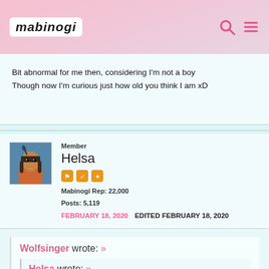mabinogi
Bit abnormal for me then, considering I'm not a boy
Though now I'm curious just how old you think I am xD
Member
Helsa
Mabinogi Rep: 22,000
Posts: 5,119
FEBRUARY 18, 2020   EDITED FEBRUARY 18, 2020
Wolfsinger wrote: »
  Helsa wrote: »
    Wolfsinger wrote: